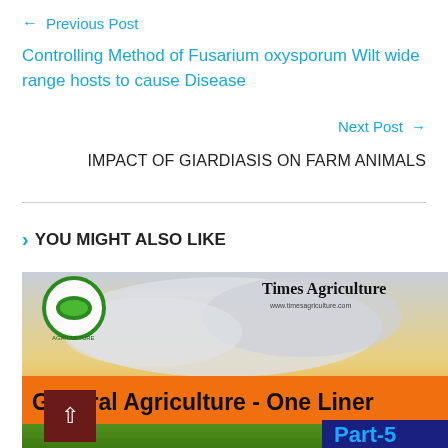← Previous Post
Controlling Method of Fusarium oxysporum Wilt wide range hosts to cause Disease
Next Post →
IMPACT OF GIARDIASIS ON FARM ANIMALS
YOU MIGHT ALSO LIKE
[Figure (illustration): Times Agriculture website banner showing a scenic agricultural landscape at sunset with green wheat field below. Includes a green circular logo on the left and 'Times Agriculture / www.timesagriculture.com' text on the right. An orange banner at the bottom reads 'General Agriculture - One Liner' and a dark box at bottom right reads 'Part-5'. A dark red scroll-to-top button with an up arrow is at the bottom left.]